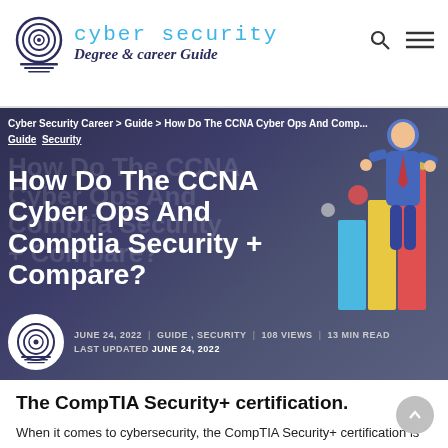cyber security Degree & career Guide
[Figure (screenshot): Hero banner image for article 'How Do The CCNA Cyber Ops And Comptia Security + Compare?' with dark blue/purple gradient background, 3D character of a businessman, colorful bar charts, and floating sphere elements. Includes breadcrumb navigation, article title in white bold text, date JUNE 24, 2022, categories GUIDE, SECURITY, 108 VIEWS, 13 MIN READ, and LAST UPDATED JUNE 24, 2022.]
How Do The CCNA Cyber Ops And Comptia Security + Compare?
The CompTIA Security+ certification.
When it comes to cybersecurity, the CompTIA Security+ certification is frequently the first credential that many IT professionals earn. To earn this vendor-neutral, entry-level